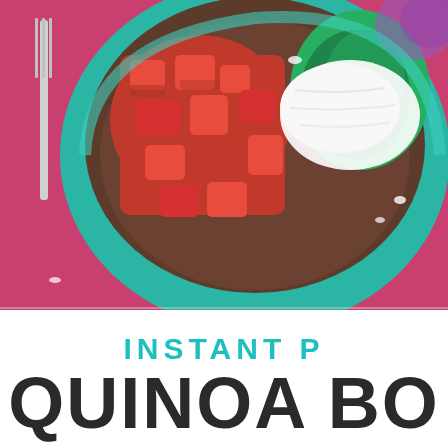[Figure (photo): Overhead view of a teal bowl filled with quinoa, diced tomatoes, sauteed greens, and a white yogurt/cream sauce, placed on a pink cloth napkin with a fork visible on the left side.]
INSTANT P
QUINOA BO